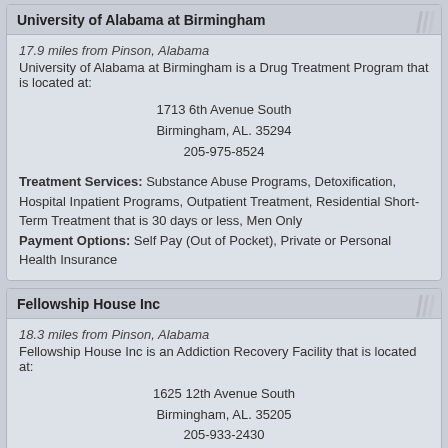University of Alabama at Birmingham
17.9 miles from Pinson, Alabama
University of Alabama at Birmingham is a Drug Treatment Program that is located at:
1713 6th Avenue South
Birmingham, AL. 35294
205-975-8524
Treatment Services: Substance Abuse Programs, Detoxification, Hospital Inpatient Programs, Outpatient Treatment, Residential Short-Term Treatment that is 30 days or less, Men Only
Payment Options: Self Pay (Out of Pocket), Private or Personal Health Insurance
Fellowship House Inc
18.3 miles from Pinson, Alabama
Fellowship House Inc is an Addiction Recovery Facility that is located at:
1625 12th Avenue South
Birmingham, AL. 35205
205-933-2430
Treatment Services: Substance Abuse Programs, Alternative Housing - Transitional Living, Outpatient Treatment, Residential Long-Term Treatment